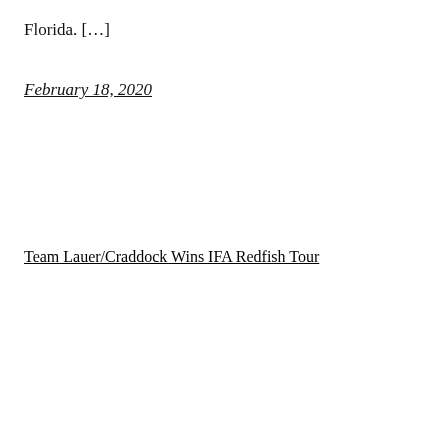Florida. […]
February 18, 2020
Team Lauer/Craddock Wins IFA Redfish Tour